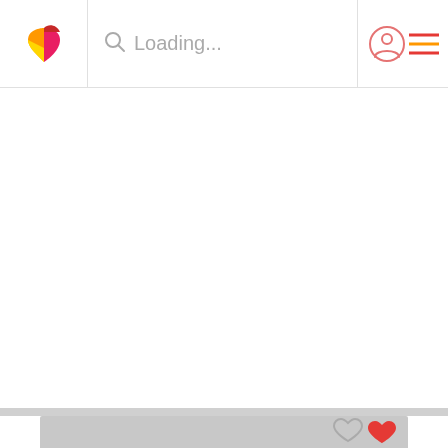[Figure (screenshot): App navigation bar with a heart-shaped logo (orange/red/yellow), a search bar showing 'Loading...', a user profile icon, and a hamburger menu icon with red and orange lines]
Loading...
[Figure (screenshot): Bottom portion showing a gray card/panel with two heart icons - an outlined gray heart and a filled red heart]